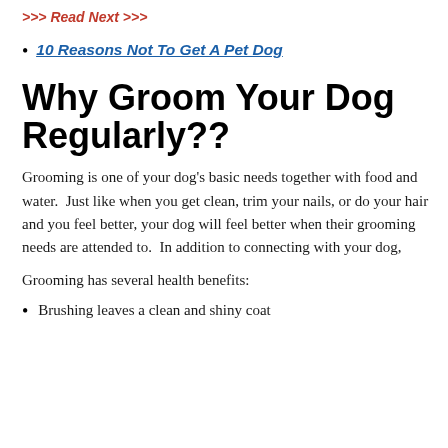>>> Read Next >>>
10 Reasons Not To Get A Pet Dog
Why Groom Your Dog Regularly??
Grooming is one of your dog's basic needs together with food and water.  Just like when you get clean, trim your nails, or do your hair and you feel better, your dog will feel better when their grooming needs are attended to.  In addition to connecting with your dog,
Grooming has several health benefits:
Brushing leaves a clean and shiny coat